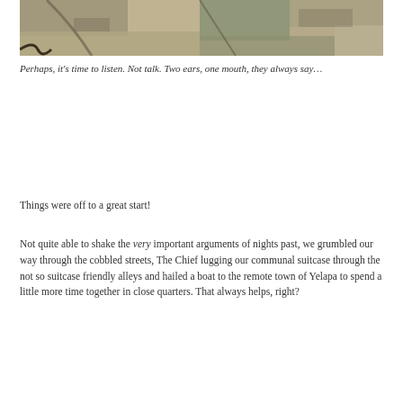[Figure (photo): Aerial or overhead photo of a landscape with fields and paths, earthy tones of tan, green, and gray]
Perhaps, it's time to listen. Not talk. Two ears, one mouth, they always say…
Things were off to a great start!
Not quite able to shake the very important arguments of nights past, we grumbled our way through the cobbled streets, The Chief lugging our communal suitcase through the not so suitcase friendly alleys and hailed a boat to the remote town of Yelapa to spend a little more time together in close quarters. That always helps, right?